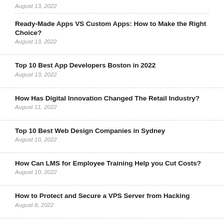August 13, 2022
Ready-Made Apps VS Custom Apps: How to Make the Right Choice?
August 13, 2022
Top 10 Best App Developers Boston in 2022
August 13, 2022
How Has Digital Innovation Changed The Retail Industry?
August 11, 2022
Top 10 Best Web Design Companies in Sydney
August 10, 2022
How Can LMS for Employee Training Help you Cut Costs?
August 10, 2022
How to Protect and Secure a VPS Server from Hacking
August 8, 2022